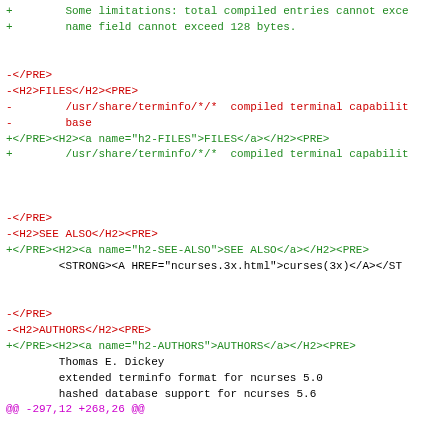Diff output showing changes to terminfo man page HTML markup, including FILES, SEE ALSO, and AUTHORS sections, with a diff hunk header @@ -297,12 +268,26 @@